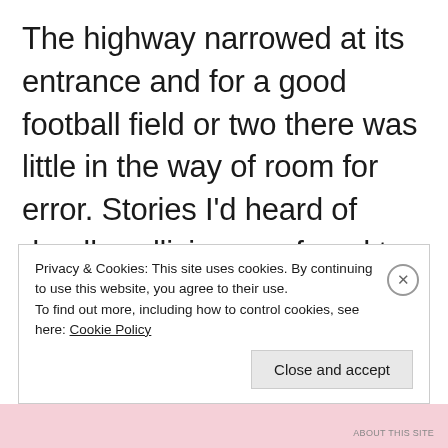The highway narrowed at its entrance and for a good football field or two there was little in the way of room for error. Stories I'd heard of deadly collisions surfaced to my awareness whenever I traveled this way. Not far from the mouth of the beast I stopped and waited. Pensive. Listening. When I
Privacy & Cookies: This site uses cookies. By continuing to use this website, you agree to their use.
To find out more, including how to control cookies, see here: Cookie Policy
Close and accept